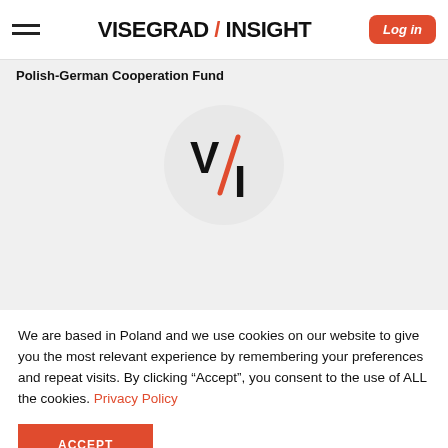VISEGRAD / INSIGHT
Polish-German Cooperation Fund
[Figure (logo): Visegrad Insight logo: letter V in bold black and letter I in bold black with a red diagonal slash between them, inside a light gray circle]
We are based in Poland and we use cookies on our website to give you the most relevant experience by remembering your preferences and repeat visits. By clicking “Accept”, you consent to the use of ALL the cookies. Privacy Policy
ACCEPT